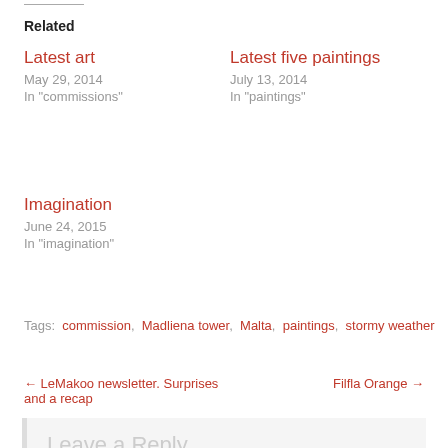Related
Latest art
May 29, 2014
In "commissions"
Latest five paintings
July 13, 2014
In "paintings"
Imagination
June 24, 2015
In "imagination"
Tags: commission, Madliena tower, Malta, paintings, stormy weather
← LeMakoo newsletter. Surprises and a recap
Filfla Orange →
Leave a Reply
Your email address will not be published. Required fields are marked *